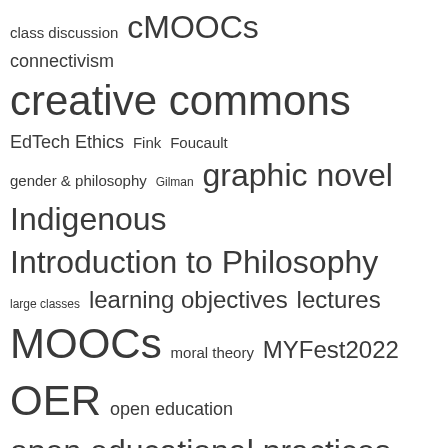[Figure (other): Tag cloud / word cloud showing educational and open education-related terms in varying font sizes indicating frequency or importance. Terms include: class discussion, cMOOCs, connectivism, creative commons, EdTech Ethics, Fink, Foucault, gender & philosophy, Gilman, graphic novel, Indigenous, Introduction to Philosophy, large classes, learning objectives, lectures, MOOCs, moral theory, MYFest2022, OER, open education, open educational practices, openness, open pedagogy, open textbooks, PHIL 102, Philosophy open textbook, policy 81, renewable assignments, Research Reviews, rhizomatic learning, Shakespeare]